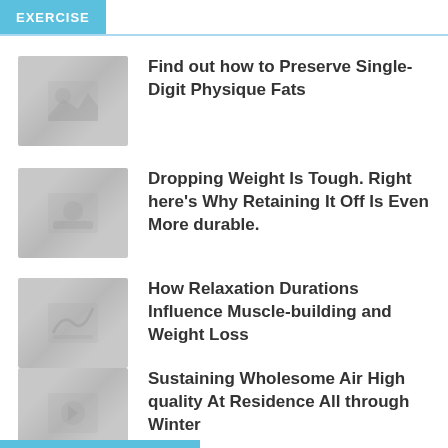EXERCISE
Find out how to Preserve Single-Digit Physique Fats
Dropping Weight Is Tough. Right here's Why Retaining It Off Is Even More durable.
How Relaxation Durations Influence Muscle-building and Weight Loss
Sustaining Wholesome Air High quality At Residence All through Winter